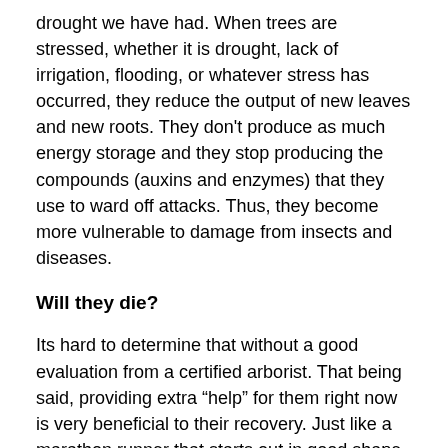drought we have had. When trees are stressed, whether it is drought, lack of irrigation, flooding, or whatever stress has occurred, they reduce the output of new leaves and new roots. They don't produce as much energy storage and they stop producing the compounds (auxins and enzymes) that they use to ward off attacks. Thus, they become more vulnerable to damage from insects and diseases.
Will they die?
Its hard to determine that without a good evaluation from a certified arborist. That being said, providing extra “help” for them right now is very beneficial to their recovery. Just like a marathon runner that starts out in good shape, if that runner is forced to run back to back to back marathons without the time to recover well, they become more prone to injuries and illnesses. Allowing for proper recovery allows them to run another marathon (another stress) down the road. So, trees need this recovery period too, reduced stress from lack of water, excess heat, over